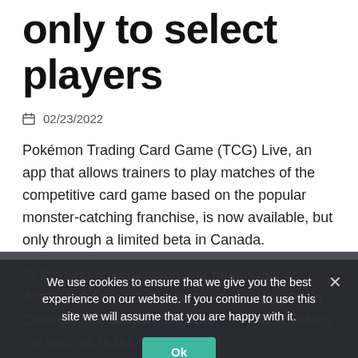only to select players
02/23/2022
Pokémon Trading Card Game (TCG) Live, an app that allows trainers to play matches of the competitive card game based on the popular monster-catching franchise, is now available, but only through a limited beta in Canada.
At the time of publication, the beta is live on Apple and Android. Support is on the players in Canada. iOS support is on the (TBD). As for when the app will debut stateside, it's
We use cookies to ensure that we give you the best experience on our website. If you continue to use this site we will assume that you are happy with it.